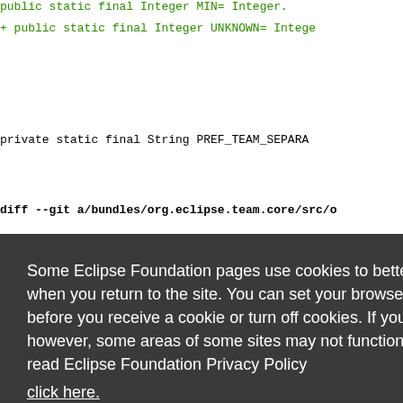[Figure (screenshot): Screenshot of a code diff viewer (Eclipse Gerrit/Git) showing Java source code with green added lines and black unchanged lines, partially obscured by a cookie consent overlay. Code includes lines like 'public static final Integer UNKNOWN= Integer...' and 'private static final String PREF_TEAM_SEPARA...' and 'diff --git a/bundles/org.eclipse.team.core/src/o...'. Right side shows partial red code fragments: 'ew Intege', 'nteger.va', '(0);', 'ueOf(0);', 'ate), new', 'f(state),'. Bottom shows '/**'.]
Some Eclipse Foundation pages use cookies to better serve you when you return to the site. You can set your browser to notify you before you receive a cookie or turn off cookies. If you do so, however, some areas of some sites may not function properly. To read Eclipse Foundation Privacy Policy click here.